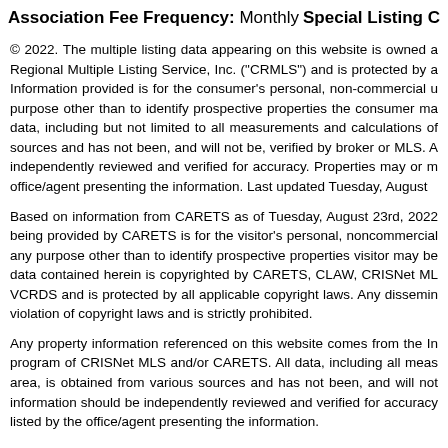Association Fee Frequency: Monthly    Special Listing C
© 2022. The multiple listing data appearing on this website is owned a Regional Multiple Listing Service, Inc. ("CRMLS") and is protected by a Information provided is for the consumer's personal, non-commercial u purpose other than to identify prospective properties the consumer ma data, including but not limited to all measurements and calculations of sources and has not been, and will not be, verified by broker or MLS. independently reviewed and verified for accuracy. Properties may or m office/agent presenting the information. Last updated Tuesday, August
Based on information from CARETS as of Tuesday, August 23rd, 2022 being provided by CARETS is for the visitor's personal, noncommercial any purpose other than to identify prospective properties visitor may be data contained herein is copyrighted by CARETS, CLAW, CRISNet ML VCRDS and is protected by all applicable copyright laws. Any dissemin violation of copyright laws and is strictly prohibited.
Any property information referenced on this website comes from the In program of CRISNet MLS and/or CARETS. All data, including all meas area, is obtained from various sources and has not been, and will not information should be independently reviewed and verified for accuracy listed by the office/agent presenting the information.
Data services provided by IDX Broke